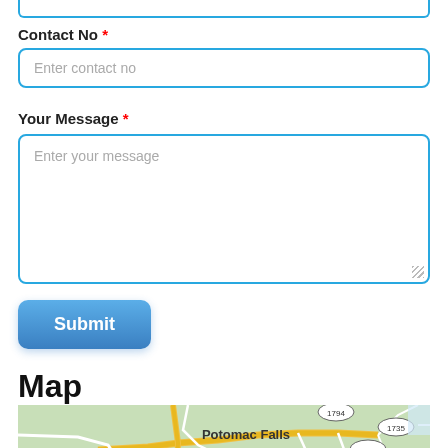Contact No *
Enter contact no
Your Message *
Enter your message
Submit
Map
[Figure (map): Street map showing Potomac Falls area with road numbers 1794, 1735, 1701, 1582, 1724, 28 and label Dulles Town visible at bottom]